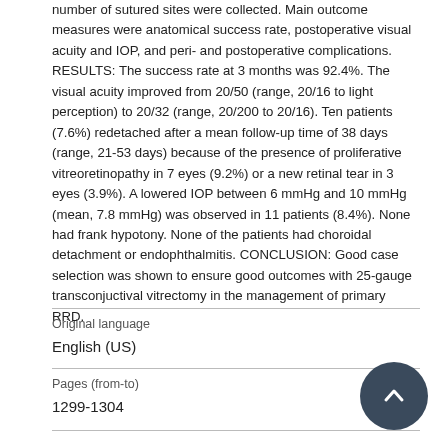number of sutured sites were collected. Main outcome measures were anatomical success rate, postoperative visual acuity and IOP, and peri- and postoperative complications. RESULTS: The success rate at 3 months was 92.4%. The visual acuity improved from 20/50 (range, 20/16 to light perception) to 20/32 (range, 20/200 to 20/16). Ten patients (7.6%) redetached after a mean follow-up time of 38 days (range, 21-53 days) because of the presence of proliferative vitreoretinopathy in 7 eyes (9.2%) or a new retinal tear in 3 eyes (3.9%). A lowered IOP between 6 mmHg and 10 mmHg (mean, 7.8 mmHg) was observed in 11 patients (8.4%). None had frank hypotony. None of the patients had choroidal detachment or endophthalmitis. CONCLUSION: Good case selection was shown to ensure good outcomes with 25-gauge transconjuctival vitrectomy in the management of primary RRD.
| Original language |  |
| --- | --- |
| English (US) |  |
| Pages (from-to) |  |
| 1299-1304 |  |